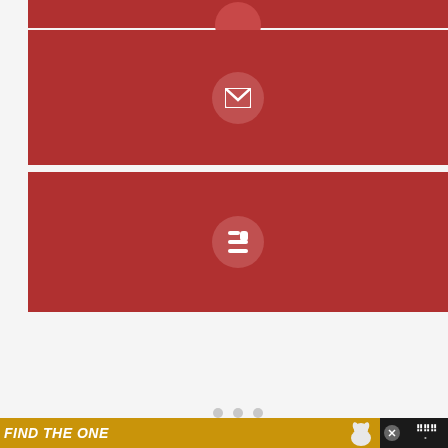[Figure (screenshot): Red social share button row with partial icon circle at top (cut off), dark red background]
[Figure (screenshot): Red social share button row showing a Gmail/email envelope icon in a circle on dark red background]
[Figure (screenshot): Red social share button row showing a Blogger 'B' icon in a circle on dark red background]
[Figure (screenshot): White/light gray empty content area with three small gray dots at bottom (carousel indicators)]
[Figure (screenshot): Advertisement banner at bottom: dark background with yellow 'FIND THE ONE' pet ad, dog image, close button, and Woo logo]